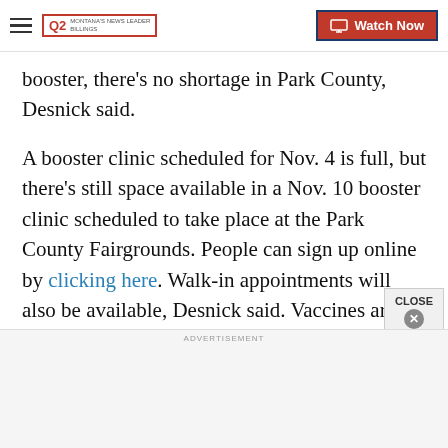Q2 MONTANA'S NEWS LEADER | Watch Now
booster, there's no shortage in Park County, Desnick said.
A booster clinic scheduled for Nov. 4 is full, but there's still space available in a Nov. 10 booster clinic scheduled to take place at the Park County Fairgrounds. People can sign up online by clicking here. Walk-in appointments will also be available, Desnick said. Vaccines are also available at Park County pharmacies and the Livingston hospital.